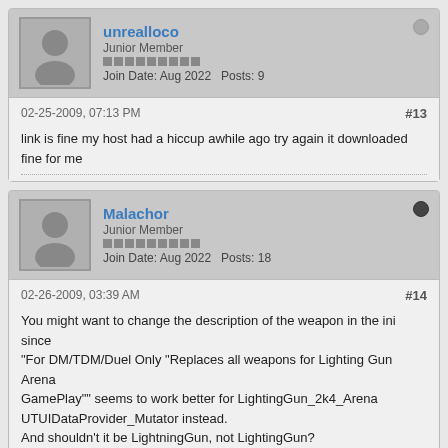unrealloco
Junior Member
Join Date: Aug 2022   Posts: 9
02-25-2009, 07:13 PM
#13
link is fine my host had a hiccup awhile ago try again it downloaded fine for me
Malachor
Junior Member
Join Date: Aug 2022   Posts: 18
02-26-2009, 03:39 AM
#14
You might want to change the description of the weapon in the ini since "For DM/TDM/Duel Only "Replaces all weapons for Lighting Gun Arena GamePlay"" seems to work better for LightingGun_2k4_Arena UTUIDataProvider_Mutator instead.
And shouldn't it be LightningGun, not LightingGun?
Does it do the area to others?